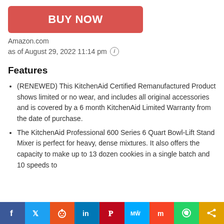[Figure (other): Red 'BUY NOW' button]
Amazon.com
as of August 29, 2022 11:14 pm ℹ
Features
(RENEWED) This KitchenAid Certified Remanufactured Product shows limited or no wear, and includes all original accessories and is covered by a 6 month KitchenAid Limited Warranty from the date of purchase.
The KitchenAid Professional 600 Series 6 Quart Bowl-Lift Stand Mixer is perfect for heavy, dense mixtures. It also offers the capacity to make up to 13 dozen cookies in a single batch and 10 speeds to
[Figure (other): Social sharing bar with Facebook, Twitter, Reddit, LinkedIn, Pinterest, MeWe, Mix, WhatsApp, and share buttons]